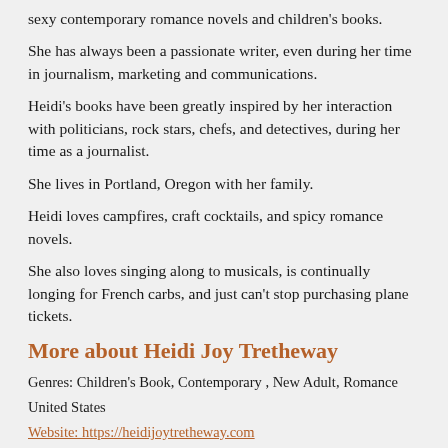sexy contemporary romance novels and children's books.
She has always been a passionate writer, even during her time in journalism, marketing and communications.
Heidi's books have been greatly inspired by her interaction with politicians, rock stars, chefs, and detectives, during her time as a journalist.
She lives in Portland, Oregon with her family.
Heidi loves campfires, craft cocktails, and spicy romance novels.
She also loves singing along to musicals, is continually longing for French carbs, and just can't stop purchasing plane tickets.
More about Heidi Joy Tretheway
Genres: Children's Book, Contemporary , New Adult, Romance
United States
Website: https://heidijoytretheway.com